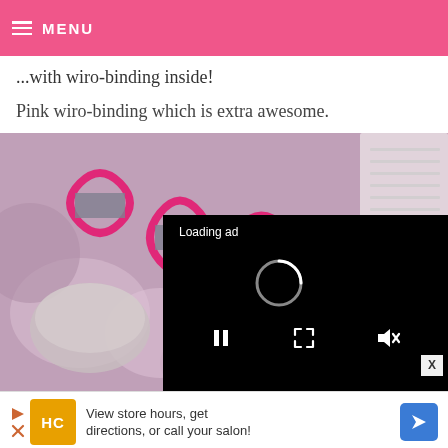MENU
...with wiro-binding inside!
Pink wiro-binding which is extra awesome.
[Figure (photo): Close-up photo of pink wiro-binding on a notebook/planner, with a black video ad overlay showing 'Loading ad' text, a spinner icon, and video player controls (pause, fullscreen, mute). An X close button appears at bottom right of the overlay.]
[Figure (infographic): Bottom advertisement banner with HC logo (yellow/orange background), text 'View store hours, get directions, or call your salon!', and a blue directional arrow icon on the right. A small play/cancel button and HC circular logo appear on the left.]